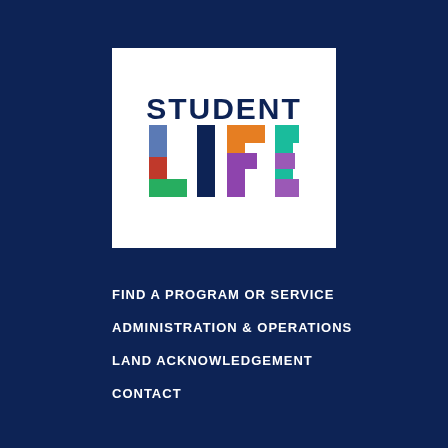[Figure (logo): Student Life logo: the word STUDENT in dark navy bold uppercase, and LIFE in large colorful letters (L in blue/red/green, I in dark navy, F in orange/purple, E in teal/purple) on a white background.]
FIND A PROGRAM OR SERVICE
ADMINISTRATION & OPERATIONS
LAND ACKNOWLEDGEMENT
CONTACT